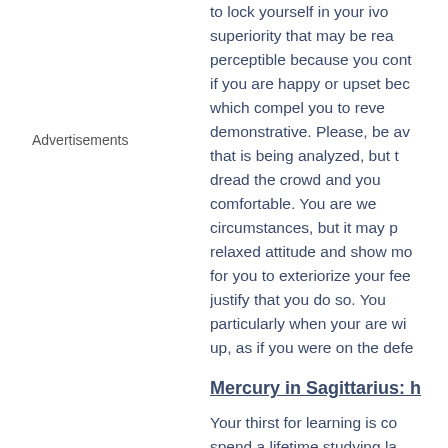to lock yourself in your ivory tower. A superiority that may be real but barely perceptible because you contri... if you are happy or upset bec... which compel you to reve... demonstrative. Please, be aw... that is being analyzed, but t... dread the crowd and you ... comfortable. You are we... circumstances, but it may p... relaxed attitude and show mo... for you to exteriorize your fee... justify that you do so. You... particularly when your are wi... up, as if you were on the defe...
Advertisements
Mercury in Sagittarius: h
Your thirst for learning is co... spend a lifetime studying la...